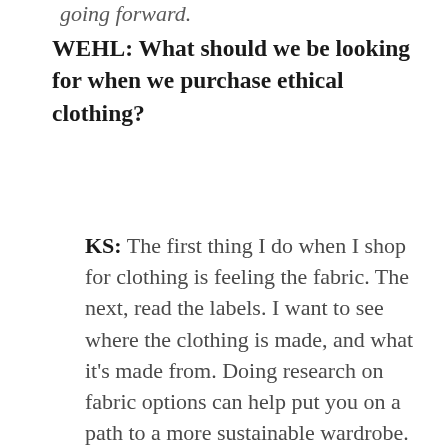going forward.
WEHL: What should we be looking for when we purchase ethical clothing?
KS: The first thing I do when I shop for clothing is feeling the fabric. The next, read the labels. I want to see where the clothing is made, and what it's made from. Doing research on fabric options can help put you on a path to a more sustainable wardrobe. Lastly, don't be afraid to reach out to the brands before you buy and get information on how their